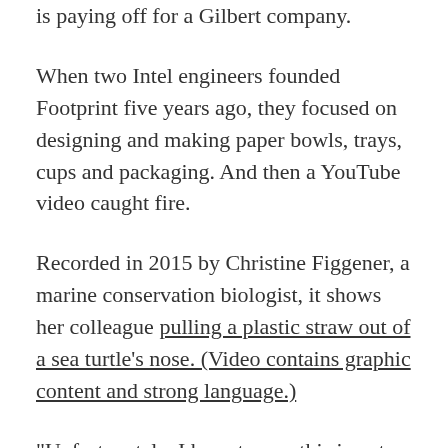is paying off for a Gilbert company.
When two Intel engineers founded Footprint five years ago, they focused on designing and making paper bowls, trays, cups and packaging. And then a YouTube video caught fire.
Recorded in 2015 by Christine Figgener, a marine conservation biologist, it shows her colleague pulling a plastic straw out of a sea turtle's nose. (Video contains graphic content and strong language.)
“Unfortunately, I have to say, this is not a super uncommon sight,” Figgener said.
As her video racked up views, Jeff Bassett, senior